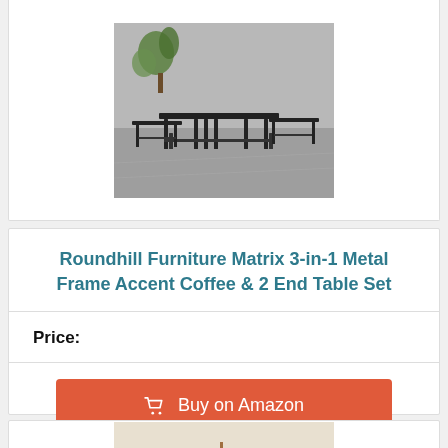[Figure (photo): Product photo of a 3-piece metal frame coffee and end table set on a grey floor with a plant in the background]
Roundhill Furniture Matrix 3-in-1 Metal Frame Accent Coffee & 2 End Table Set
Price:
[Figure (other): Buy on Amazon button with shopping cart icon]
[Figure (photo): Partial product photo of a wooden coffee and end table set with decorative items on top]